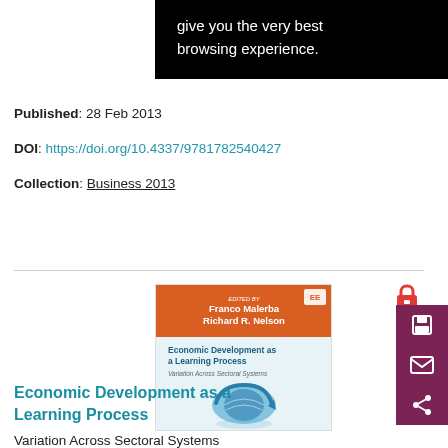give you the very best browsing experience.
Published:  28 Feb 2013
DOI:  https://doi.org/10.4337/9781782540427
Collection:  Business 2013
[Figure (illustration): Book cover for 'Economic Development as a Learning Process: Variation Across Sectoral Systems' edited by Franco Malerba and Richard R. Nelson. Orange top portion with publisher logo, blue globe with arrows at bottom.]
Economic Development as a Learning Process
Variation Across Sectoral Systems